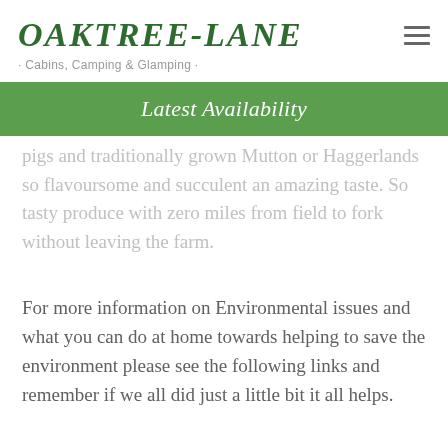OAKTREE-LANE · Cabins, Camping & Glamping ·
Latest Availability
pigs and traditionally grown Mutton or Haggerlands so flavoursome and succulent an amazing taste. So tasty produce with zero miles from field to fork without leaving the farm.
For more information on Environmental issues and what you can do at home towards helping to save the environment please see the following links and remember if we all did just a little bit it all helps.